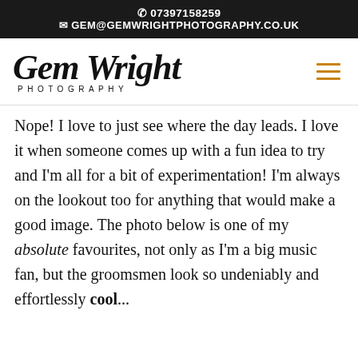✆ 07397158259 ✉ GEM@GEMWRIGHTPHOTOGRAPHY.CO.UK
[Figure (logo): Gem Wright Photography logo — cursive script 'Gem Wright' above 'PHOTOGRAPHY' in spaced capitals, with a hamburger menu icon in orange on the right]
Nope! I love to just see where the day leads. I love it when someone comes up with a fun idea to try and I'm all for a bit of experimentation! I'm always on the lookout too for anything that would make a good image. The photo below is one of my absolute favourites, not only as I'm a big music fan, but the groomsmen look so undeniably and effortlessly cool...